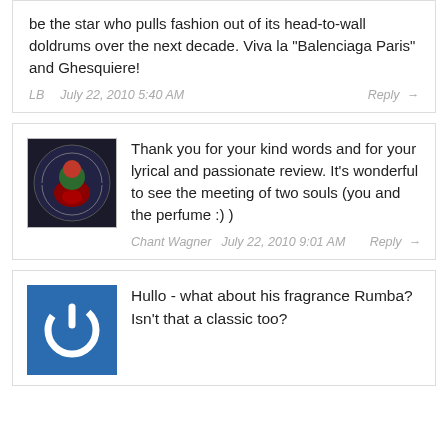be the star who pulls fashion out of its head-to-wall doldrums over the next decade. Viva la "Balenciaga Paris" and Ghesquiere!
LB   July 22, 2010 5:40 AM   Reply →
[Figure (illustration): The Scented Salamander circular logo on dark background with red and green figure]
Thank you for your kind words and for your lyrical and passionate review. It's wonderful to see the meeting of two souls (you and the perfume :) )
Chant Wagner   July 22, 2010 9:01 AM   Reply →
[Figure (illustration): Blue square avatar with white power button icon]
Hullo - what about his fragrance Rumba? Isn't that a classic too?